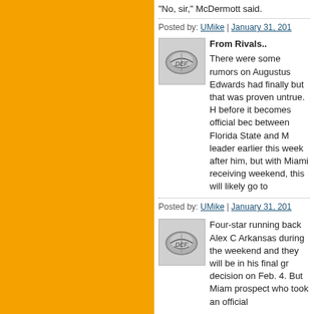"No, sir," McDermott said.
Posted by: UMike | January 31, 201
[Figure (photo): Small avatar image of a football helmet, silver/gray color with dark markings, in a square thumbnail]
From Rivals..
There were some rumors on Augustus Edwards had finally but that was proven untrue. H before it becomes official bec between Florida State and M leader earlier this week after him, but with Miami receiving weekend, this will likely go to
Posted by: UMike | January 31, 201
[Figure (photo): Small avatar image of a football helmet, silver/gray color with dark markings, in a square thumbnail]
Four-star running back Alex C Arkansas during the weekend and they will be in his final gr decision on Feb. 4. But Miam prospect who took an official